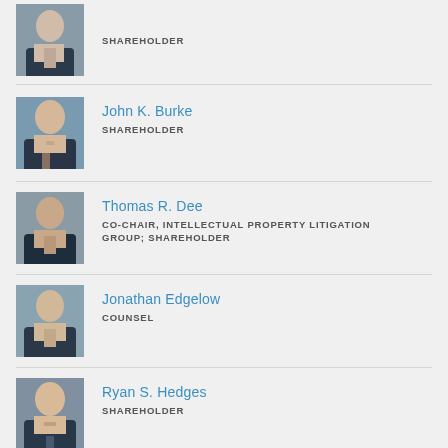[Figure (photo): Partial headshot of a male attorney in suit, top of page (cropped)]
SHAREHOLDER
[Figure (photo): Headshot of John K. Burke, male attorney in suit, smiling]
John K. Burke
SHAREHOLDER
[Figure (photo): Headshot of Thomas R. Dee, male attorney in suit]
Thomas R. Dee
CO-CHAIR, INTELLECTUAL PROPERTY LITIGATION GROUP; SHAREHOLDER
[Figure (photo): Headshot of Jonathan Edgelow, male attorney in suit]
Jonathan Edgelow
COUNSEL
[Figure (photo): Headshot of Ryan S. Hedges, male attorney in suit, smiling]
Ryan S. Hedges
SHAREHOLDER